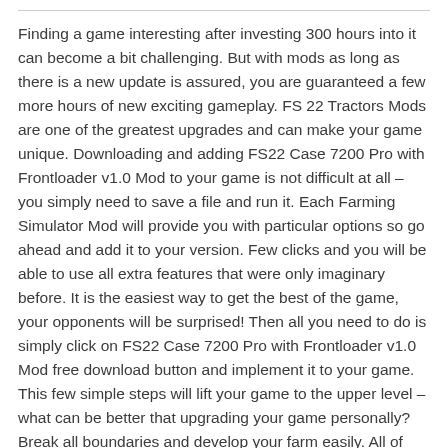Finding a game interesting after investing 300 hours into it can become a bit challenging. But with mods as long as there is a new update is assured, you are guaranteed a few more hours of new exciting gameplay. FS 22 Tractors Mods are one of the greatest upgrades and can make your game unique. Downloading and adding FS22 Case 7200 Pro with Frontloader v1.0 Mod to your game is not difficult at all – you simply need to save a file and run it. Each Farming Simulator Mod will provide you with particular options so go ahead and add it to your version. Few clicks and you will be able to use all extra features that were only imaginary before. It is the easiest way to get the best of the game, your opponents will be surprised! Then all you need to do is simply click on FS22 Case 7200 Pro with Frontloader v1.0 Mod free download button and implement it to your game. This few simple steps will lift your game to the upper level – what can be better that upgrading your game personally? Break all boundaries and develop your farm easily. All of this is just the tip of the